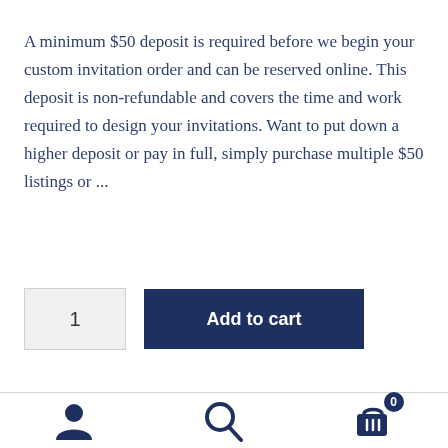A minimum $50 deposit is required before we begin your custom invitation order and can be reserved online. This deposit is non-refundable and covers the time and work required to design your invitations. Want to put down a higher deposit or pay in full, simply purchase multiple $50 listings or ...
[Figure (screenshot): E-commerce add to cart UI: a quantity box showing '1' and a dark navy 'Add to cart' button]
[Figure (infographic): Bottom navigation bar with three icons: user/account icon, search magnifying glass icon, and shopping cart icon with badge showing '0']